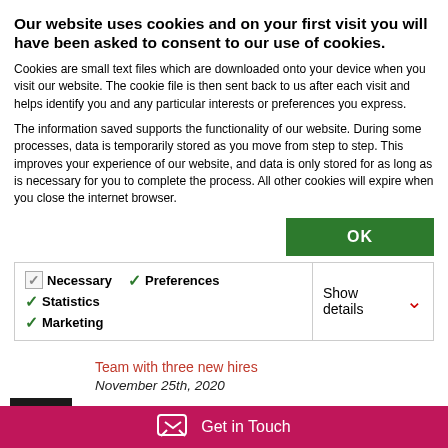Our website uses cookies and on your first visit you will have been asked to consent to our use of cookies.
Cookies are small text files which are downloaded onto your device when you visit our website. The cookie file is then sent back to us after each visit and helps identify you and any particular interests or preferences you express.
The information saved supports the functionality of our website. During some processes, data is temporarily stored as you move from step to step. This improves your experience of our website, and data is only stored for as long as is necessary for you to complete the process. All other cookies will expire when you close the internet browser.
| Necessary | Preferences | Statistics | Show details |
| --- | --- | --- | --- |
| ✓ Necessary | ✓ Preferences | ✓ Statistics | Show details ˅ |
| ✓ Marketing |  |  |  |
Team with three new hires
November 25th, 2020
JMW Solicitors LLP continues its expansion of the London office, with three hires for the Commercial
Get in Touch